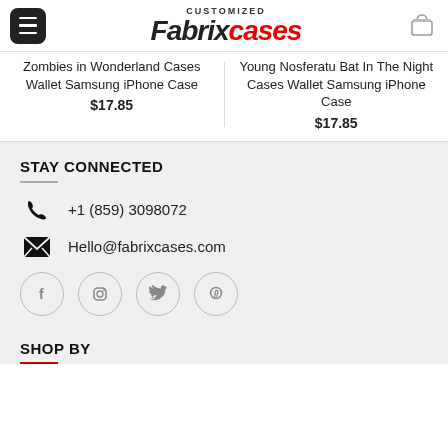Fabrix cases — CUSTOMIZED — navigation header with menu and cart
Zombies in Wonderland Cases Wallet Samsung iPhone Case
$17.85
Young Nosferatu Bat In The Night Cases Wallet Samsung iPhone Case
$17.85
STAY CONNECTED
+1 (859) 3098072
Hello@fabrixcases.com
[Figure (infographic): Social media icons: Facebook, Instagram, Twitter, Pinterest in circular outlines]
SHOP BY